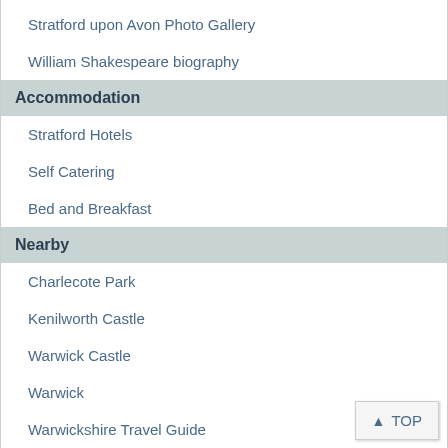Stratford upon Avon Photo Gallery
William Shakespeare biography
Accommodation
Stratford Hotels
Self Catering
Bed and Breakfast
Nearby
Charlecote Park
Kenilworth Castle
Warwick Castle
Warwick
Warwickshire Travel Guide